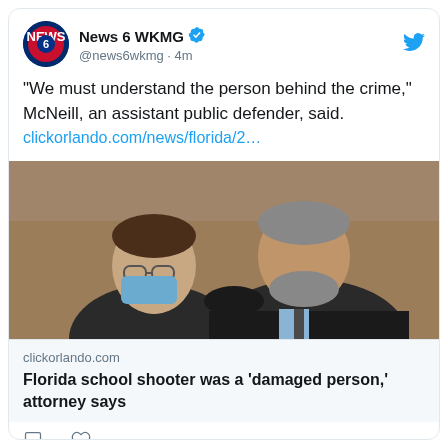News 6 WKMG @news6wkmg · 4m
“We must understand the person behind the crime,” McNeill, an assistant public defender, said.
clickorlando.com/news/florida/2…
[Figure (photo): Two men in a courtroom setting, one wearing a blue medical mask and glasses, the other an older man in a suit leaning in to speak with the first man.]
clickorlando.com
Florida school shooter was a ‘damaged person,’ attorney says